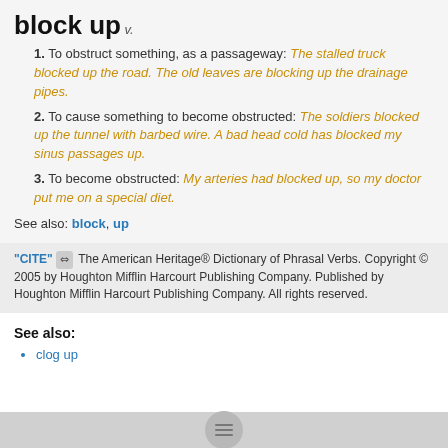block up
v.
1. To obstruct something, as a passageway: The stalled truck blocked up the road. The old leaves are blocking up the drainage pipes.
2. To cause something to become obstructed: The soldiers blocked up the tunnel with barbed wire. A bad head cold has blocked my sinus passages up.
3. To become obstructed: My arteries had blocked up, so my doctor put me on a special diet.
See also: block, up
"CITE" [link icon] The American Heritage® Dictionary of Phrasal Verbs. Copyright © 2005 by Houghton Mifflin Harcourt Publishing Company. Published by Houghton Mifflin Harcourt Publishing Company. All rights reserved.
See also:
clog up